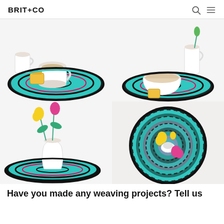BRIT+CO
[Figure (photo): 2x2 grid of four photos showing colorful teal/black/multicolor woven fabric placemats/trivets used as table settings with tea cups, bowls, and flower vases]
Have you made any weaving projects? Tell us